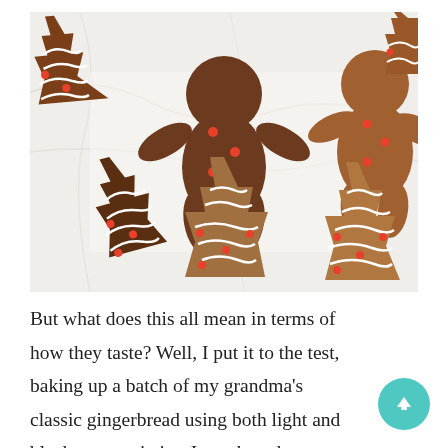[Figure (photo): Overhead view of gingerbread cookies on a white marble surface. Cookies are shaped as gingerbread men and Christmas trees decorated with white icing swirls and small red/orange candy dots.]
But what does this all mean in terms of how they taste? Well, I put it to the test, baking up a batch of my grandma's classic gingerbread using both light and blackstrap varieties. I purchased two bottles of molasses, a classic, light molasses (Brer Rabbit